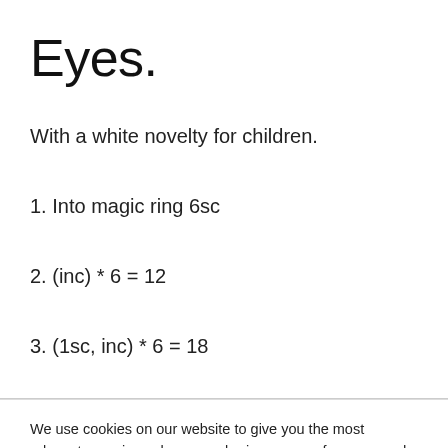Eyes.
With a white novelty for children.
1. Into magic ring 6sc
2. (inc) * 6 = 12
3. (1sc, inc) * 6 = 18
We use cookies on our website to give you the most relevant experience by remembering your preferences and repeat visits. By clicking “Accept”, you consent to the use of ALL the cookies.
Cookie settings
ACCEPT